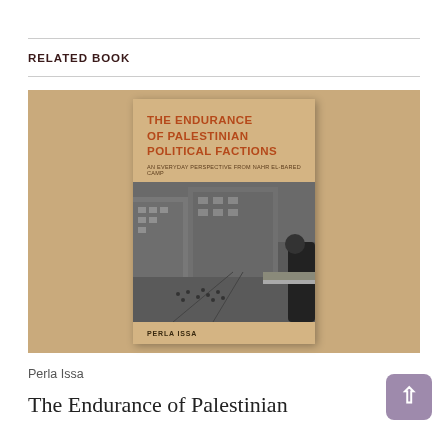RELATED BOOK
[Figure (photo): Book cover of 'The Endurance of Palestinian Political Factions: An Everyday Perspective from Nahr El-Bared Camp' by Perla Issa. The cover has a tan/sandy background with bold red-orange title text and a black-and-white photograph of a crowded urban street viewed from above.]
Perla Issa
The Endurance of Palestinian